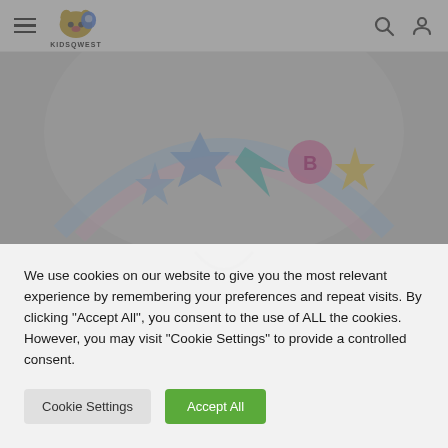KIDSQWEST navigation bar with hamburger menu, logo, search and user icons
[Figure (screenshot): KidsQwest website background showing colorful shapes and characters, greyed out behind cookie consent overlay]
We use cookies on our website to give you the most relevant experience by remembering your preferences and repeat visits. By clicking “Accept All”, you consent to the use of ALL the cookies. However, you may visit “Cookie Settings” to provide a controlled consent.
Cookie Settings | Accept All